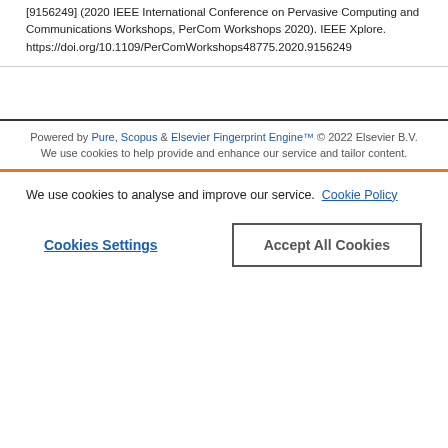[9156249] (2020 IEEE International Conference on Pervasive Computing and Communications Workshops, PerCom Workshops 2020). IEEE Xplore. https://doi.org/10.1109/PerComWorkshops48775.2020.9156249
Powered by Pure, Scopus & Elsevier Fingerprint Engine™ © 2022 Elsevier B.V.
We use cookies to help provide and enhance our service and tailor content.
We use cookies to analyse and improve our service. Cookie Policy